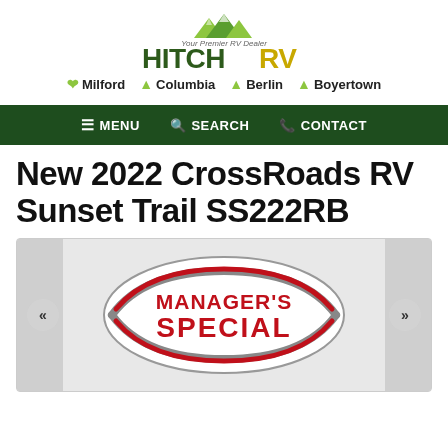[Figure (logo): HitchRV logo with tagline 'Your Premier RV Dealer' and mountain graphic above bold green HITCH and gold RV text]
Milford  Columbia  Berlin  Boyertown
≡ MENU   🔍 SEARCH   📞 CONTACT
New 2022 CrossRoads RV Sunset Trail SS222RB
[Figure (illustration): Manager's Special oval badge/logo with red bold text MANAGER'S SPECIAL on white background with gray swoosh ellipse, shown inside an image carousel with left/right navigation arrows and gray side panels]